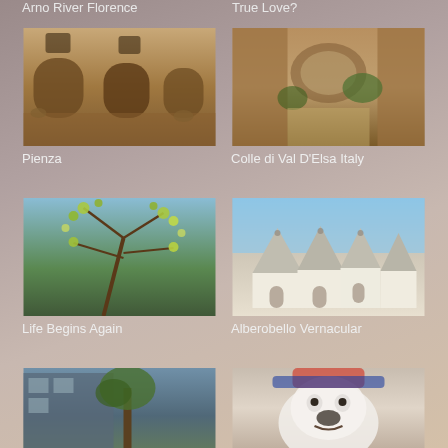Arno River Florence
True Love?
[Figure (photo): Stone building facade with arched wooden doors and windows with flower boxes, Pienza Italy]
Pienza
[Figure (photo): Narrow stone alley with archway and green plants, Colle di Val D'Elsa Italy]
Colle di Val D'Elsa Italy
[Figure (photo): Close-up of green buds on a tree branch against blue sky]
Life Begins Again
[Figure (photo): White trulli conical stone buildings in Alberobello with blue sky]
Alberobello Vernacular
[Figure (photo): Street view with modern building and tree]
[Figure (photo): White English Bulldog wearing colorful accessories]